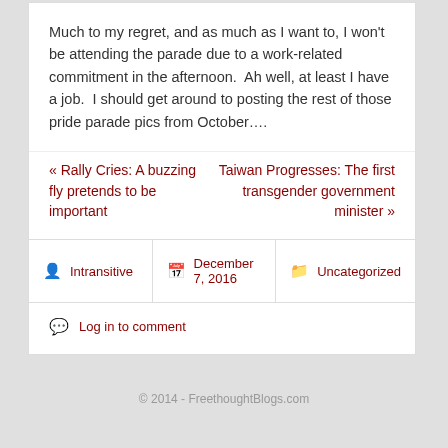Much to my regret, and as much as I want to, I won't be attending the parade due to a work-related commitment in the afternoon.  Ah well, at least I have a job.  I should get around to posting the rest of those pride parade pics from October….
« Rally Cries: A buzzing fly pretends to be important
Taiwan Progresses: The first transgender government minister »
Intransitive   December 7, 2016   Uncategorized
Log in to comment
© 2014 - FreethoughtBlogs.com